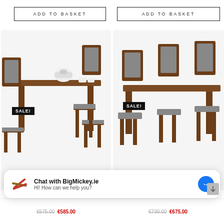[Figure (photo): ADD TO BASKET button (left product) - bordered rectangle with letter-spaced text]
[Figure (photo): ADD TO BASKET button (right product) - bordered rectangle with letter-spaced text]
[Figure (photo): Left product: wooden dining table with 4 chairs with grey upholstery, SALE! badge in black, white teapot and cups on table, product photo on white background]
[Figure (photo): Right product: wooden dining table with 6 chairs with grey upholstery, SALE! badge in black, product photo on white background]
[Figure (screenshot): Chat widget: BigMickey.ie chat popup with logo icon, text 'Chat with BigMickey.ie' and 'Hi! How can we help you?', Facebook Messenger icon on right]
€575.00  €585.00
€730.00  €675.00